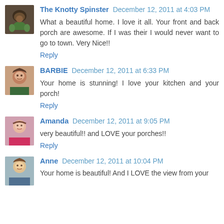The Knotty Spinster December 12, 2011 at 4:03 PM
What a beautiful home. I love it all. Your front and back porch are awesome. If I was their I would never want to go to town. Very Nice!!
Reply
BARBIE December 12, 2011 at 6:33 PM
Your home is stunning! I love your kitchen and your porch!
Reply
Amanda December 12, 2011 at 9:05 PM
very beautiful!! and LOVE your porches!!
Reply
Anne December 12, 2011 at 10:04 PM
Your home is beautiful! And I LOVE the view from your